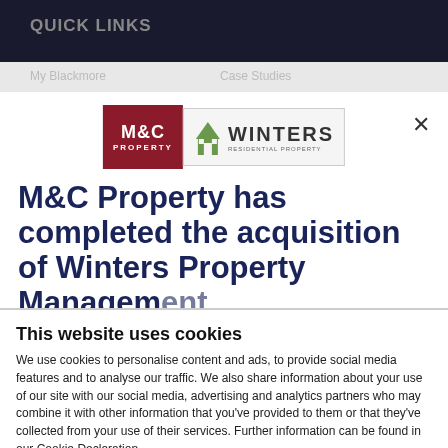QUICK LINKS
[Figure (logo): M&C Property and Winters Property Management logos side by side]
M&C Property has completed the acquisition of Winters Property Management
This website uses cookies
We use cookies to personalise content and ads, to provide social media features and to analyse our traffic. We also share information about your use of our site with our social media, advertising and analytics partners who may combine it with other information that you've provided to them or that they've collected from your use of their services. Further information can be found in our Cookie Declaration.
Allow selection | Allow all cookies
Necessary  Preferences  Statistics  Marketing  Show details